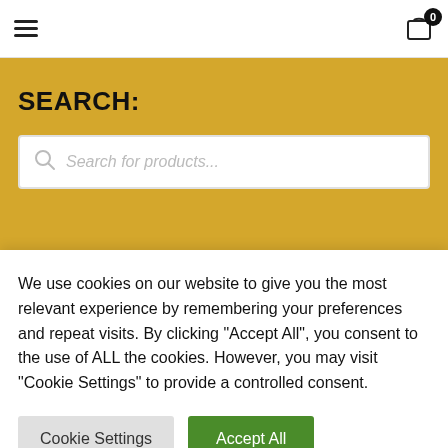Navigation header with hamburger menu and cart icon (0 items)
SEARCH:
Search for products...
CART
We use cookies on our website to give you the most relevant experience by remembering your preferences and repeat visits. By clicking "Accept All", you consent to the use of ALL the cookies. However, you may visit "Cookie Settings" to provide a controlled consent.
Cookie Settings | Accept All